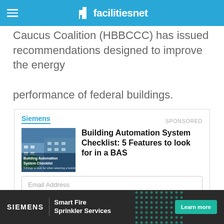facilitiesnet
Caucus Coalition (HBBCCC) has issued recommendations designed to improve the energy performance of federal buildings.
[Figure (infographic): Sponsored card from Siemens promoting 'Building Automation System Checklist: 5 Features to look for in a BAS' with email and name form fields and a 'Read Now' button. Small building image on the left.]
[Figure (infographic): Bottom advertisement banner: SIEMENS | Smart Fire Sprinkler Services with a 'Learn more' button on dark background with teal dot pattern.]